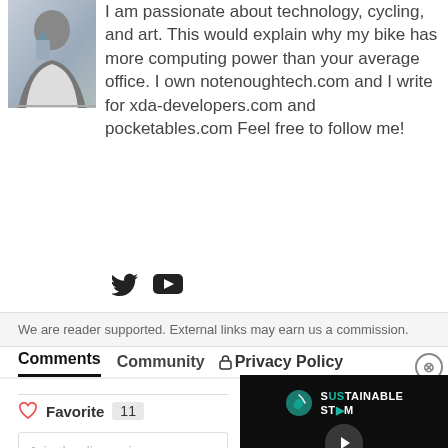[Figure (photo): Author photo - person wearing white jacket holding a trophy/award]
I am passionate about technology, cycling, and art. This would explain why my bike has more computing power than your average office. I own notenoughtech.com and I write for xda-developers.com and pocketables.com Feel free to follow me!
[Figure (illustration): Twitter bird icon and YouTube play button icon for social media links]
We are reader supported. External links may earn us a commission.
Comments   Community   🔒 Privacy Policy
[Figure (screenshot): Video player showing Sustainable Steam branded video with play button and progress bar controls]
Favorite  11
Join the discussion...
Ad  BitLife - Life Simulator
LOG IN W